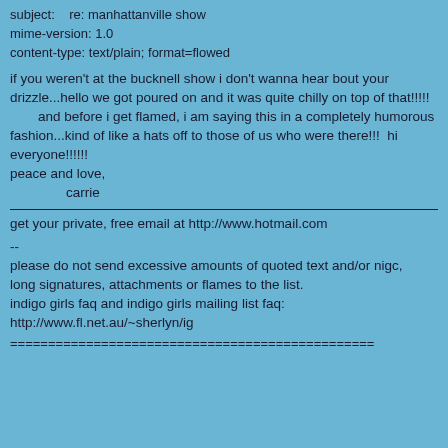subject:    re: manhattanville show
mime-version: 1.0
content-type: text/plain; format=flowed
if you weren't at the bucknell show i don't wanna hear bout your
drizzle...hello we got poured on and it was quite chilly on top of that!!!!!
  and before i get flamed, i am saying this in a completely humorous
fashion...kind of like a hats off to those of us who were there!!!  hi
everyone!!!!!!!
peace and love,
        carrie
get your private, free email at http://www.hotmail.com
--
please do not send excessive amounts of quoted text and/or nigc,
long signatures, attachments or flames to the list.
indigo girls faq and indigo girls mailing list faq:
http://www.fl.net.au/~sherlyn/ig
================================================